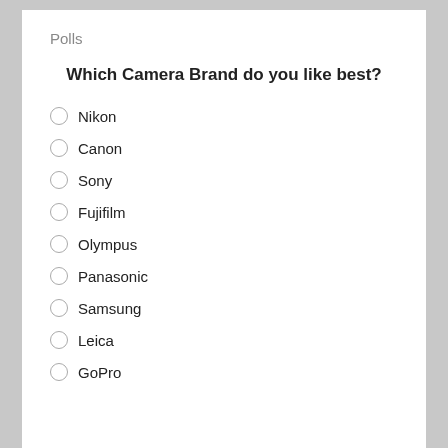Polls
Which Camera Brand do you like best?
Nikon
Canon
Sony
Fujifilm
Olympus
Panasonic
Samsung
Leica
GoPro